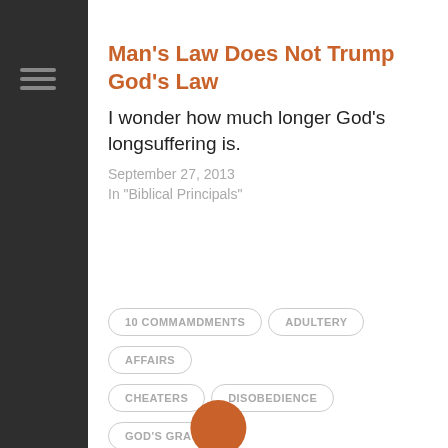Man's Law Does Not Trump God's Law
I wonder how much longer God's longsuffering is.
September 27, 2013
In "Biblical Principals"
10 COMMAMDMENTS
ADULTERY
AFFAIRS
CHEATERS
DISOBEDIENCE
GOD'S GRACE
GOD'S LAW
HACKERS
MAN'S LAW VS. GOD'S LAW
OBEDIENCE
PHILANDERERS